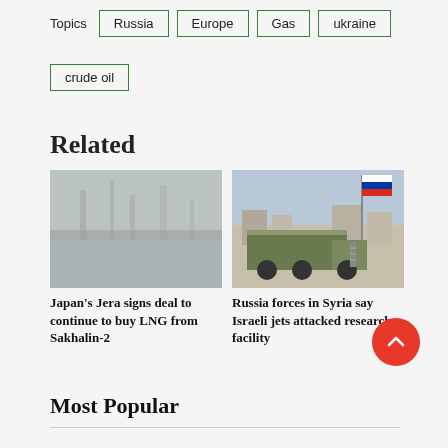Topics  Russia  Europe  Gas  ukraine  crude oil
Related
[Figure (photo): Misty industrial waterfront scene, likely oil/gas facility]
Japan’s Jera signs deal to continue to buy LNG from Sakhalin-2
[Figure (photo): Military truck with Russian flag in Syria street scene]
Russia forces in Syria say Israeli jets attacked research facility
Most Popular